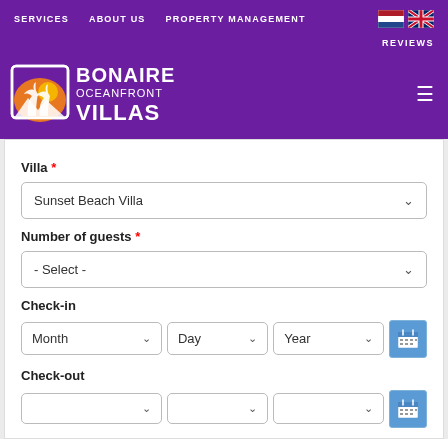SERVICES   ABOUT US   PROPERTY MANAGEMENT   REVIEWS
[Figure (logo): Bonaire Oceanfront Villas logo with palm tree icon on purple background]
Villa *
Sunset Beach Villa
Number of guests *
- Select -
Check-in
Month   Day   Year
Check-out